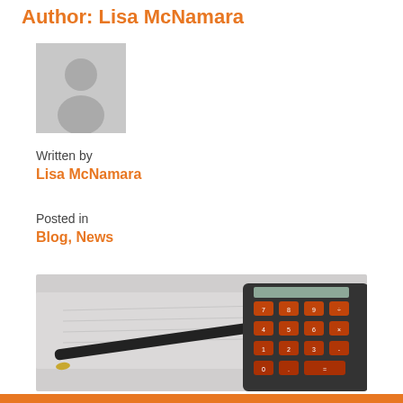Author: Lisa McNamara
[Figure (illustration): Gray placeholder avatar icon showing a silhouette of a person on a light gray square background]
Written by
Lisa McNamara
Posted in
Blog, News
[Figure (photo): Close-up photo of a black pen with gold tip resting on paper next to a calculator with orange/red keys, slightly blurred background]